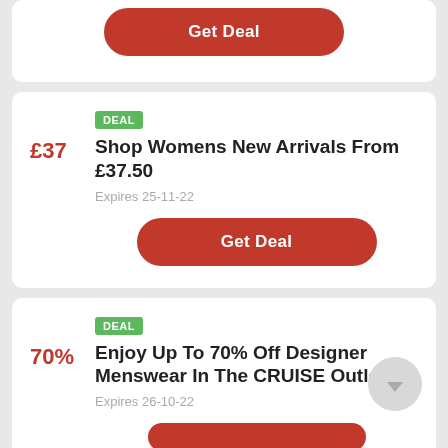[Figure (screenshot): Partial top card showing a red Get Deal button]
DEAL
Shop Womens New Arrivals From £37.50
£37
Expires 25-11-22
Get Deal
DEAL
Enjoy Up To 70% Off Designer Menswear In The CRUISE Outlet
70%
Expires 26-10-22
[Figure (screenshot): Partial red Get Deal button at bottom]